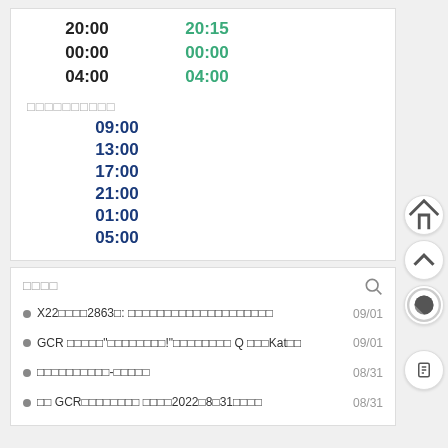| Time | Updated |
| --- | --- |
| 20:00 | 20:15 |
| 00:00 | 00:00 |
| 04:00 | 04:00 |
□□□□□□□□□□
09:00
13:00
17:00
21:00
01:00
05:00
□□□□
● X22□□□□2863□: □□□□□□□□□□□□□□□□□□□□  09/01
● GCR □□□□□"□□□□□□□□!"□□□□□□□□ Q □□□Kat□□  09/01
● □□□□□□□□□□-□□□□□  08/31
● □□ GCR□□□□□□□□ □□□□2022□8□31□□□□  08/31